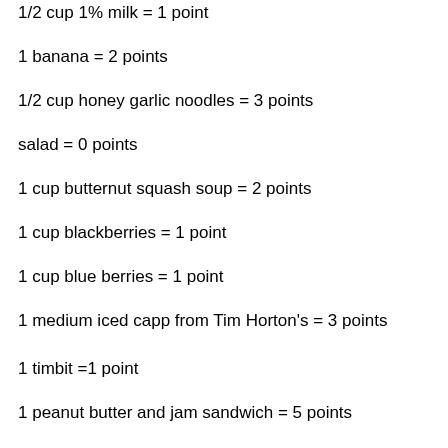1/2 cup 1% milk = 1 point
1 banana = 2 points
1/2 cup honey garlic noodles = 3 points
salad = 0 points
1 cup butternut squash soup = 2 points
1 cup blackberries = 1 point
1 cup blue berries = 1 point
1 medium iced capp from Tim Horton's = 3 points
1 timbit =1 point
1 peanut butter and jam sandwich = 5 points